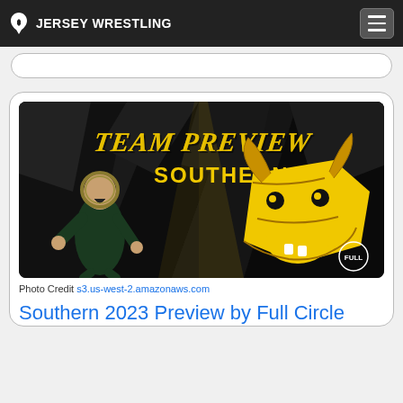JERSEY WRESTLING
[Figure (photo): Team Preview Southern wrestling promotional image showing a wrestler in green singlet celebrating with a gold ram mascot logo on dark background with geometric shapes]
Photo Credit s3.us-west-2.amazonaws.com
Southern 2023 Preview by Full Circle